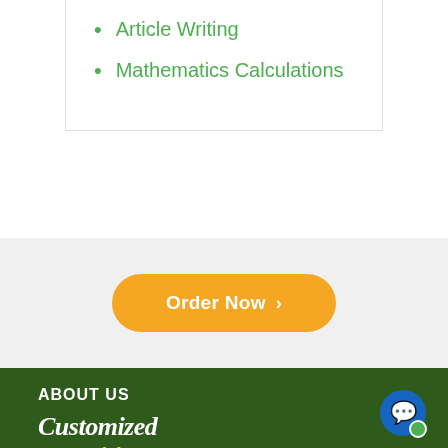Article Writing
Mathematics Calculations
Order Now
ABOUT US
[Figure (logo): Customized Writing logo with tagline: Expert Writing for your Custom Essays]
We focus on delivering professional customized essays